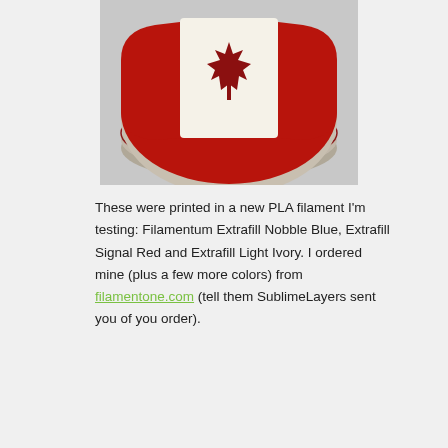[Figure (photo): A 3D-printed object shaped like a Canada flag or badge — an oval layered piece showing a red and white Canadian flag design with a maple leaf, printed in red, white/ivory and layered colors, sitting on a light gray surface.]
These were printed in a new PLA filament I'm testing: Filamentum Extrafill Nobble Blue, Extrafill Signal Red and Extrafill Light Ivory. I ordered mine (plus a few more colors) from filamentone.com (tell them SublimeLayers sent you of you order).